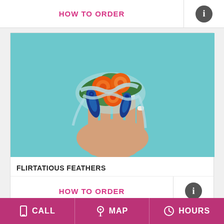HOW TO ORDER
[Figure (photo): A hand wearing a floral wrist corsage with orange roses, peacock feathers, and a light blue ribbon on a teal background]
FLIRTATIOUS FEATHERS
HOW TO ORDER
CALL  MAP  HOURS